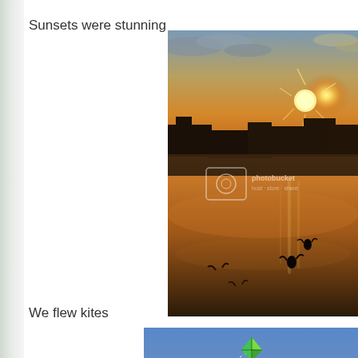Sunsets were stunning
[Figure (photo): Sunset over a beach with buildings silhouetted on the horizon, golden and orange sky, water reflecting the light, birds or figures in silhouette on the wet sand. Photobucket watermark visible.]
We flew kites
[Figure (photo): A green and yellow kite flying high in a clear blue sky, with a dotted string trail visible below it.]